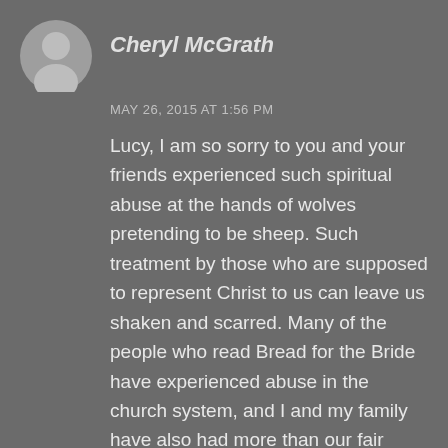Cheryl McGrath
MAY 26, 2015 AT 1:56 PM
Lucy, I am so sorry to you and your friends experienced such spiritual abuse at the hands of wolves pretending to be sheep. Such treatment by those who are supposed to represent Christ to us can leave us shaken and scarred. Many of the people who read Bread for the Bride have experienced abuse in the church system, and I and my family have also had more than our fair share. Through it all Jesus, our Good Shepherd, assures us that He loves and cares for us more than we can know. I pray and trust that despite your